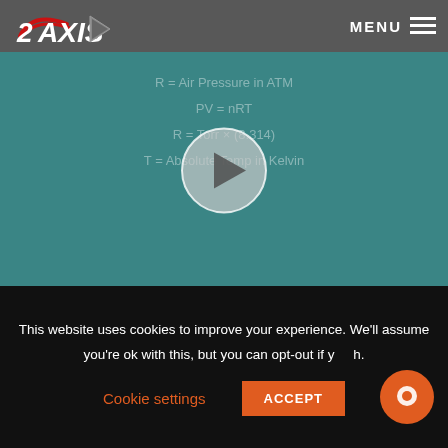[Figure (screenshot): Website header with 2Axis logo (red italic text with arrow graphic) on gray navigation bar with MENU hamburger button on right]
[Figure (screenshot): Video thumbnail showing a chalkboard with ideal gas law equations (R = air pressure in ATM, PV=nRT, R = Torr x (8.314), T = Absolute Temp in Kelvin) with a play button overlay and wooden ledge at bottom]
The Ideal Gas Law & Leak Testing Video
The Ideal Gas Law & Leak testing Click Here to read full PV=nRT & Leak Testing white paper.In this video we will discuss the ideal gas law and its effects on leak
This website uses cookies to improve your experience. We'll assume you're ok with this, but you can opt-out if you wish.
Cookie settings
ACCEPT